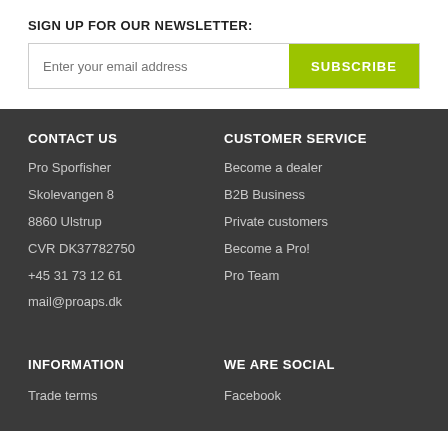SIGN UP FOR OUR NEWSLETTER:
Enter your email address | SUBSCRIBE
CONTACT US
Pro Sporfisher
Skolevangen 8
8860 Ulstrup
CVR DK37782750
+45 31 73 12 61
mail@proaps.dk
CUSTOMER SERVICE
Become a dealer
B2B Business
Private customers
Become a Pro!
Pro Team
INFORMATION
Trade terms
WE ARE SOCIAL
Facebook